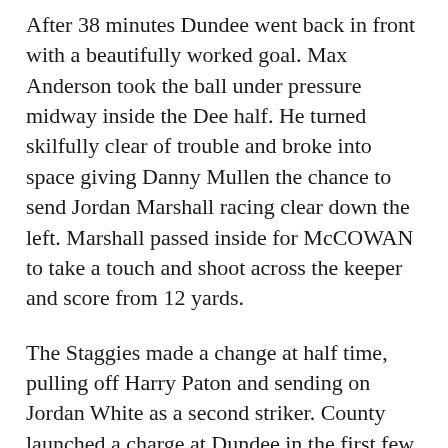After 38 minutes Dundee went back in front with a beautifully worked goal. Max Anderson took the ball under pressure midway inside the Dee half. He turned skilfully clear of trouble and broke into space giving Danny Mullen the chance to send Jordan Marshall racing clear down the left. Marshall passed inside for McCOWAN to take a touch and shoot across the keeper and score from 12 yards.
The Staggies made a change at half time, pulling off Harry Paton and sending on Jordan White as a second striker. County launched a charge at Dundee in the first few minutes of the half and White almost scored a quick goal. Charles-Cook ran to the byline and crossed low to the near post where White couldn't get the touch he needed.
Dundee gradually took the sting out of the County surge and started to hold the ball, pinning the home side back. McCowan had a great chance to complete his hat-trick